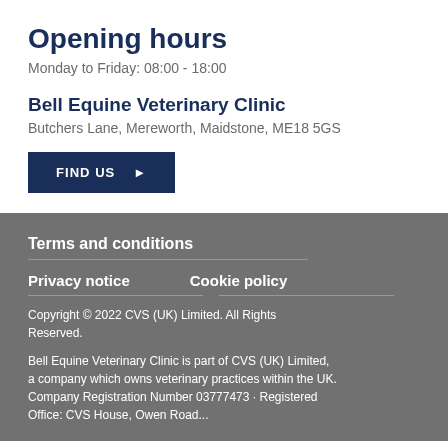Opening hours
Monday to Friday: 08:00 - 18:00
Bell Equine Veterinary Clinic
Butchers Lane, Mereworth, Maidstone, ME18 5GS
FIND US ▶
Terms and conditions
Privacy notice
Cookie policy
Copyright © 2022 CVS (UK) Limited. All Rights Reserved.
Bell Equine Veterinary Clinic is part of CVS (UK) Limited, a company which owns veterinary practices within the UK. Company Registration Number 03777473 · Registered Office: CVS House, Owen Road...